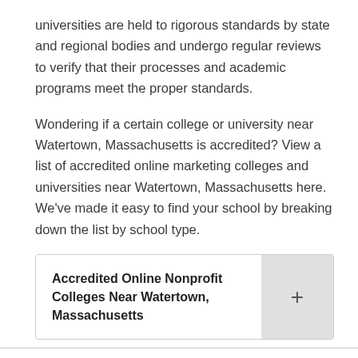universities are held to rigorous standards by state and regional bodies and undergo regular reviews to verify that their processes and academic programs meet the proper standards.
Wondering if a certain college or university near Watertown, Massachusetts is accredited? View a list of accredited online marketing colleges and universities near Watertown, Massachusetts here. We've made it easy to find your school by breaking down the list by school type.
Accredited Online Nonprofit Colleges Near Watertown, Massachusetts